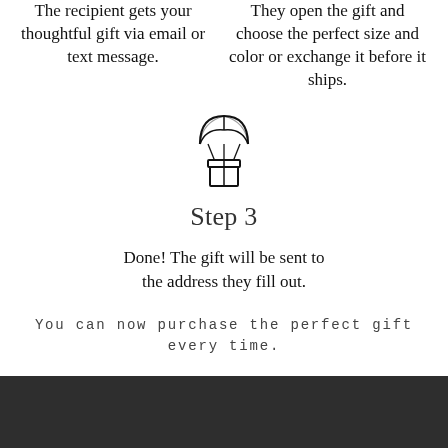The recipient gets your thoughtful gift via email or text message.
They open the gift and choose the perfect size and color or exchange it before it ships.
[Figure (illustration): Icon of a gift box with a parachute attached, floating down]
Step 3
Done! The gift will be sent to the address they fill out.
You can now purchase the perfect gift every time.
[Figure (photo): Dark/black band at the bottom of the page]